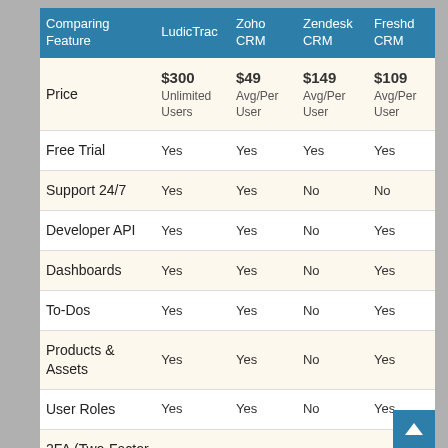| Comparing Feature | LudicTrac | Zoho CRM | Zendesk CRM | Freshd CRM |
| --- | --- | --- | --- | --- |
| Price | $300 Unlimited Users | $49 Avg/Per User | $149 Avg/Per User | $109 Avg/Per User |
| Free Trial | Yes | Yes | Yes | Yes |
| Support 24/7 | Yes | Yes | No | No |
| Developer API | Yes | Yes | No | Yes |
| Dashboards | Yes | Yes | No | Yes |
| To-Dos | Yes | Yes | No | Yes |
| Products & Assets | Yes | Yes | No | Yes |
| User Roles | Yes | Yes | No | Yes |
| 2FA (Two-Factor Authentication) | Yes | Yes | No | Yes |